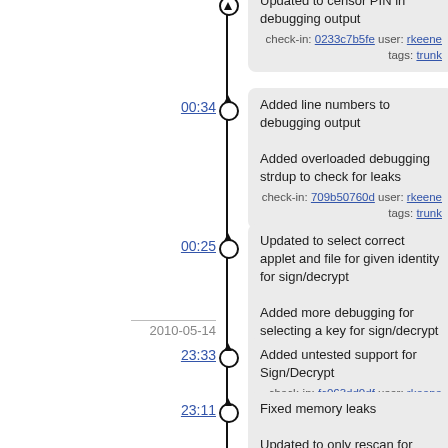Updated to censor PIN in debugging output
check-in: 0233c7b5fe user: rkeene tags: trunk
00:34
Added line numbers to debugging output
Added overloaded debugging strdup to check for leaks
check-in: 709b50760d user: rkeene tags: trunk
00:25
Updated to select correct applet and file for given identity for sign/decrypt
Added more debugging for selecting a key for sign/decrypt
check-in: 9fc3b9fa03 user: rkeene tags: trunk
2010-05-14
23:33
Added untested support for Sign/Decrypt
check-in: fc063dd0df user: rkeene tags: trunk
23:11
Fixed memory leaks
Updated to only rescan for identities if a slot reset has been detected
check-in: f006b206b1 user: rkeene tags: trunk